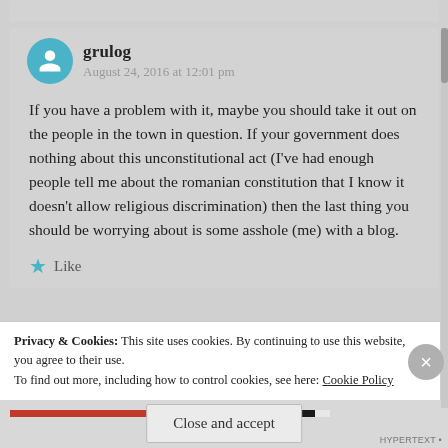grulog
August 24, 2016 at 12:01 pm
If you have a problem with it, maybe you should take it out on the people in the town in question. If your government does nothing about this unconstitutional act (I've had enough people tell me about the romanian constitution that I know it doesn't allow religious discrimination) then the last thing you should be worrying about is some asshole (me) with a blog.
Like
Privacy & Cookies: This site uses cookies. By continuing to use this website, you agree to their use.
To find out more, including how to control cookies, see here: Cookie Policy
Close and accept